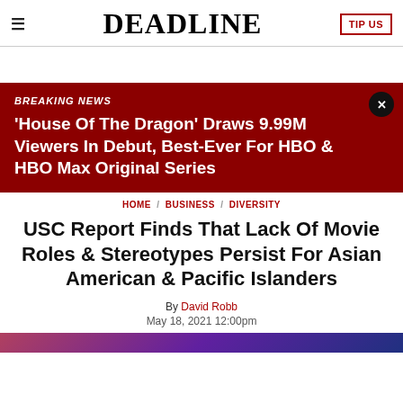DEADLINE  TIP US
BREAKING NEWS
'House Of The Dragon' Draws 9.99M Viewers In Debut, Best-Ever For HBO & HBO Max Original Series
HOME / BUSINESS / DIVERSITY
USC Report Finds That Lack Of Movie Roles & Stereotypes Persist For Asian American & Pacific Islanders
By David Robb
May 18, 2021 12:00pm